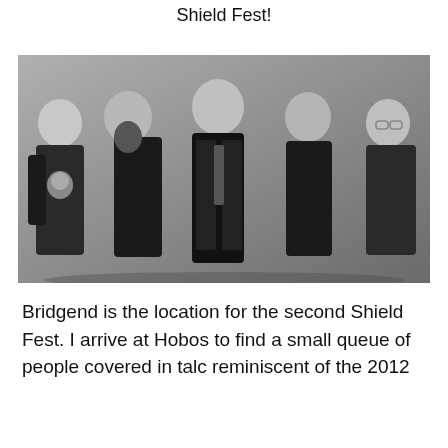How to count down the days until the next Shield Fest!
[Figure (photo): Black and white promotional photo of five young men dressed in dark clothing, posed together against a plain background. The group appears to be a rock band.]
Bridgend is the location for the second Shield Fest. I arrive at Hobos to find a small queue of people covered in talc reminiscent of the 2012